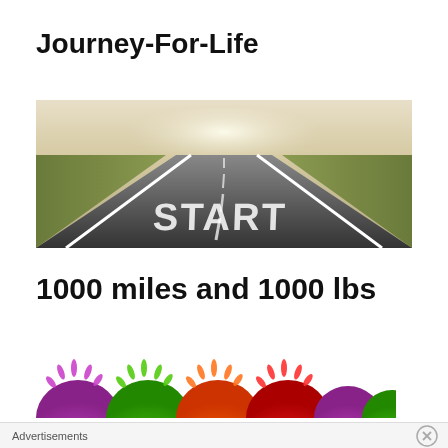Journey-For-Life
[Figure (photo): A straight open road stretching to the horizon with 'START' painted in large white letters on the asphalt, bordered by green grass fields under a bright sky.]
1000 miles and 1000 lbs
[Figure (photo): Colorful fuzzy/hairy rainbow arches in various colors including purple, green, orange, red, and yellow against a white background.]
Advertisements